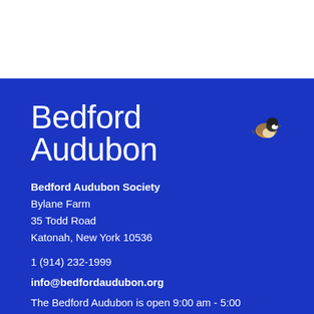[Figure (logo): Bedford Audubon logo with bird illustration and white text on blue background]
Bedford Audubon Society
Bylane Farm
35 Todd Road
Katonah, New York 10536
1 (914) 232-1999
info@bedfordaudubon.org
The Bedford Audubon is open 9:00 am - 5:00